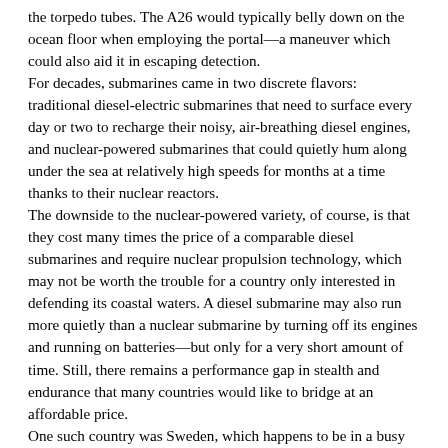the torpedo tubes. The A26 would typically belly down on the ocean floor when employing the portal—a maneuver which could also aid it in escaping detection.
For decades, submarines came in two discrete flavors: traditional diesel-electric submarines that need to surface every day or two to recharge their noisy, air-breathing diesel engines, and nuclear-powered submarines that could quietly hum along under the sea at relatively high speeds for months at a time thanks to their nuclear reactors.
The downside to the nuclear-powered variety, of course, is that they cost many times the price of a comparable diesel submarines and require nuclear propulsion technology, which may not be worth the trouble for a country only interested in defending its coastal waters. A diesel submarine may also run more quietly than a nuclear submarine by turning off its engines and running on batteries—but only for a very short amount of time. Still, there remains a performance gap in stealth and endurance that many countries would like to bridge at an affordable price.
One such country was Sweden, which happens to be in a busy neighborhood opposite to Russian naval bases on the Baltic Sea. Though Sweden is not a member of NATO, Moscow has made clear it might take measures to 'eliminate the threat,' as Putin put